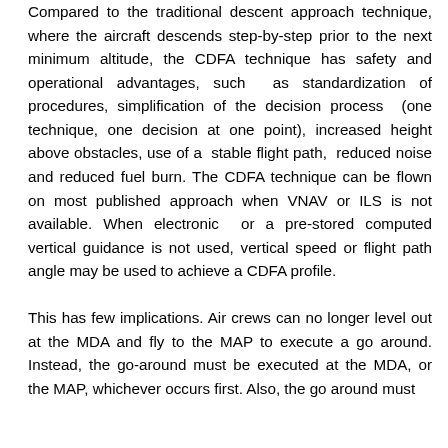Compared to the traditional descent approach technique, where the aircraft descends step-by-step prior to the next minimum altitude, the CDFA technique has safety and operational advantages, such as standardization of procedures, simplification of the decision process (one technique, one decision at one point), increased height above obstacles, use of a stable flight path, reduced noise and reduced fuel burn. The CDFA technique can be flown on most published approach when VNAV or ILS is not available. When electronic or a pre-stored computed vertical guidance is not used, vertical speed or flight path angle may be used to achieve a CDFA profile.
This has few implications. Air crews can no longer level out at the MDA and fly to the MAP to execute a go around. Instead, the go-around must be executed at the MDA, or the MAP, whichever occurs first. Also, the go around must